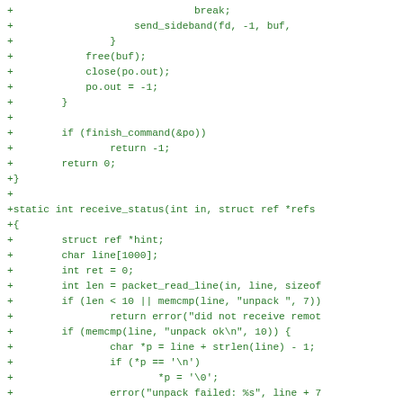Code diff showing additions to a C source file including send_sideband, free/close operations, finish_command check, return statements, and a new static function receive_status with variable declarations and packet processing logic.